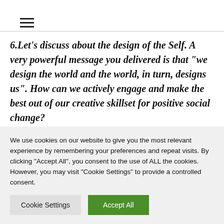☰
6.Let's discuss about the design of the Self. A very powerful message you delivered is that "we design the world and the world, in turn, designs us". How can we actively engage and make the best out of our creative skillset for positive social change?
We are shaped by our experiences, good and bad, we are individuals formed through the things that we interact with. The th...
We use cookies on our website to give you the most relevant experience by remembering your preferences and repeat visits. By clicking "Accept All", you consent to the use of ALL the cookies. However, you may visit "Cookie Settings" to provide a controlled consent.
Cookie Settings | Accept All